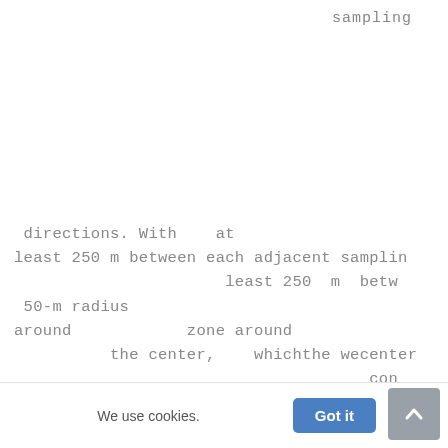sampling
directions. With   at  least 250 m between each adjacent samplin                      least 250  m  betw  50-m radius around            zone around           the center,   whichthe wecenter                                    con
We use cookies.
Got it